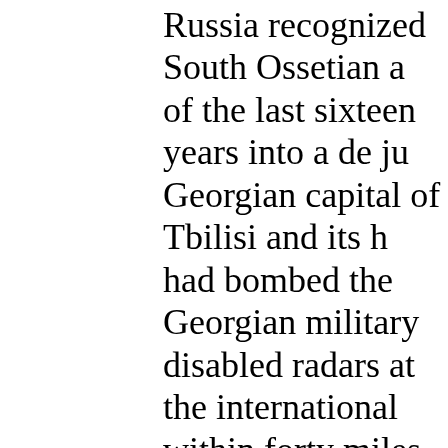Russia recognized South Ossetian a of the last sixteen years into a de ju Georgian capital of Tbilisi and its h had bombed the Georgian military disabled radars at the international within forty miles of the Georgian Georgian forces extremely difficult. The Mystery Behind the Georgian In this simple chronicle, there is so invade South Ossetia on August 7? Ossetians of Georgian villages for than usual, such artillery exchange